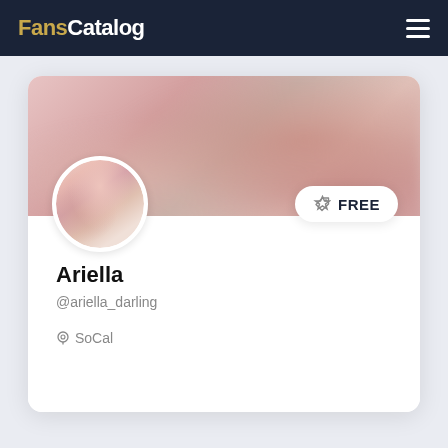FansCatalog
[Figure (screenshot): Profile card for Ariella (@ariella_darling) on FansCatalog. Shows blurred banner image, circular avatar with pink-haired person, FREE badge, name, handle, and SoCal location.]
Ariella
@ariella_darling
SoCal